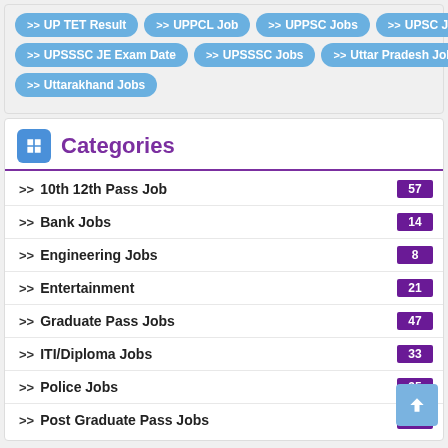>> UP TET Result
>> UPPCL Job
>> UPPSC Jobs
>> UPSC Jobs
>> UPSSSC JE Exam Date
>> UPSSSC Jobs
>> Uttar Pradesh Jobs
>> Uttarakhand Jobs
Categories
>> 10th 12th Pass Job  57
>> Bank Jobs  14
>> Engineering Jobs  8
>> Entertainment  21
>> Graduate Pass Jobs  47
>> ITI/Diploma Jobs  33
>> Police Jobs  35
>> Post Graduate Pass Jobs  27